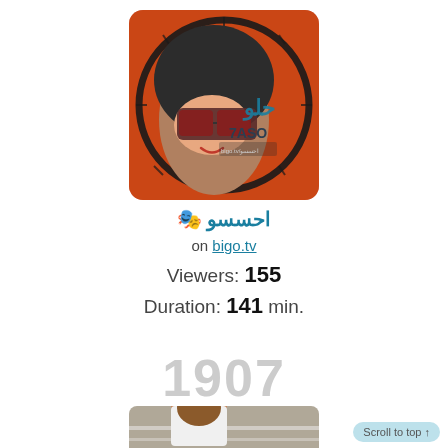[Figure (photo): Profile photo of a woman wearing large sunglasses and a hijab, with Arabic text and '7ASO' overlaid, shown inside a circular frame on a red/orange background, displayed as a rounded square thumbnail.]
🎭 احسسو‎ on bigo.tv Viewers: 155 Duration: 141 min.
1907
[Figure (photo): A young woman with brown hair in a white shirt, sitting outdoors on what appears to be a concrete surface, partially visible at the bottom of the page.]
Scroll to top ↑